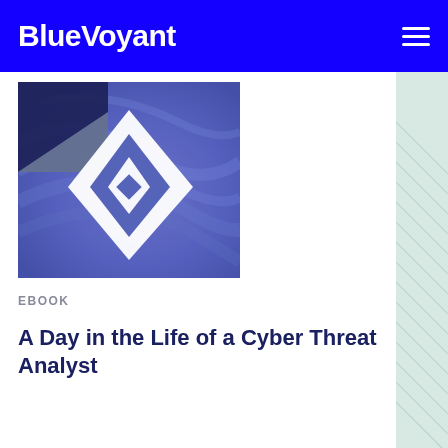BlueVoyant
[Figure (logo): BlueVoyant logo thumbnail with white diamond/arrow geometric shapes on a blue-purple swirled background with a dark navy square in the upper-left corner]
EBOOK
A Day in the Life of a Cyber Threat Analyst